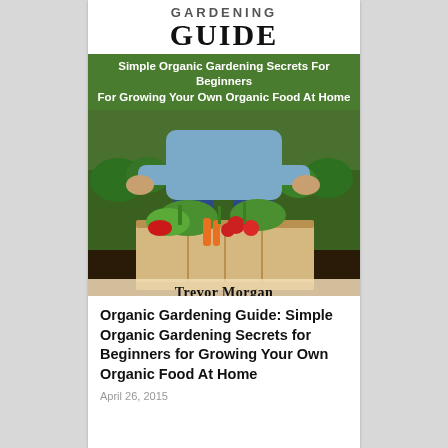[Figure (photo): Book cover of 'Organic Gardening Guide' by Trevor Morgan. White top area with large bold title text 'GUIDE', green banner with subtitle text, and photo of a person kneeling in a garden holding a wooden crate filled with fresh vegetables including tomatoes, lettuce, carrots, peppers and other produce. Author name 'Trevor Morgan' appears at the bottom of the cover.]
Organic Gardening Guide: Simple Organic Gardening Secrets for Beginners for Growing Your Own Organic Food At Home
April 26, 2015